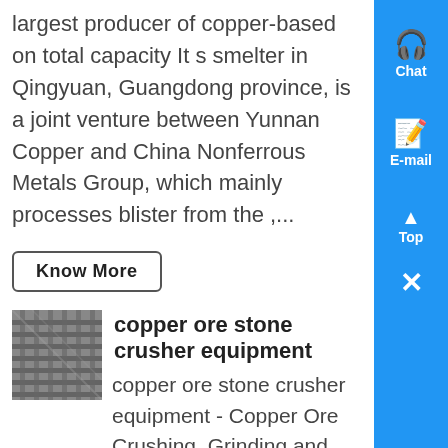largest producer of copper-based on total capacity It s smelter in Qingyuan, Guangdong province, is a joint venture between Yunnan Copper and China Nonferrous Metals Group, which mainly processes blister from the ,...
Know More
copper ore stone crusher equipment
[Figure (photo): Photo of copper ore stone crusher equipment - metal grating/frame structure]
copper ore stone crusher equipment - Copper Ore Crushing, Grinding and Flotation 911 MetallurgistMay 22, 2017 In order to utilize this system, the jaw crusher is oversized to be studied by a pilot plant test of a 50 ton sample, if the or...